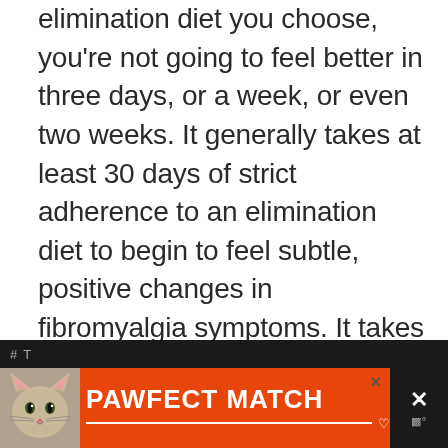elimination diet you choose, you're not going to feel better in three days, or a week, or even two weeks. It generally takes at least 30 days of strict adherence to an elimination diet to begin to feel subtle, positive changes in fibromyalgia symptoms. It takes about 60 to 90 days to experience the full impact.
The lesson here is this: Elimination diets are a marathon, not a sprint. In order for an elimination diet to work, you've got to stick to it and give it an honest chance.
[Figure (other): Advertisement banner for 'PAWFECT MATCH' featuring a cat image on the left, orange background with white bold text 'PAWFECT MATCH', a close/X button, and a dark right panel with X and degree symbols.]